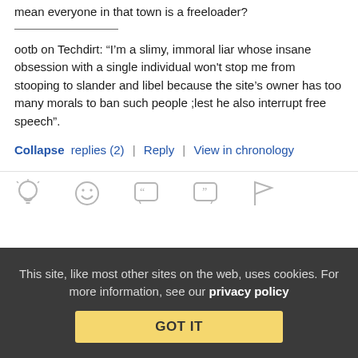mean everyone in that town is a freeloader?
ootb on Techdirt: “I’m a slimy, immoral liar whose insane obsession with a single individual won’t stop me from stooping to slander and libel because the site’s owner has too many morals to ban such people ;lest he also interrupt free speech”.
Collapse replies (2) | Reply | View in chronology
[Figure (infographic): Row of comment action icons: lightbulb (insight), laughing face (funny), quote bubble open, quote bubble close, flag]
[Figure (infographic): Reply thread icon with [3] label in blue]
This site, like most other sites on the web, uses cookies. For more information, see our privacy policy
GOT IT